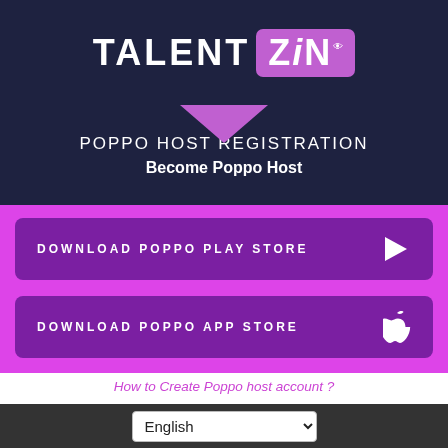TALENT ZiN
POPPO HOST REGISTRATION
Become Poppo Host
[Figure (infographic): Purple download button: DOWNLOAD POPPO PLAY STORE with play icon]
[Figure (infographic): Purple download button: DOWNLOAD POPPO APP STORE with Apple icon]
How to Create Poppo host account ?
How to Become Poppo Host ?
If you are hoping to become Poppo host, you can start now from home and earn good weekly commission, you can create your poppo account today just by following some...